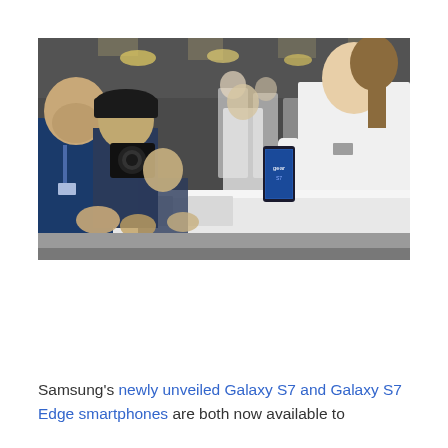[Figure (photo): People at a Samsung product launch event examining the Galaxy S7 smartphone. A woman in a white shirt holds up a Samsung Galaxy S7, while attendees and photographers crowd a white display table in a large hall.]
Samsung's newly unveiled Galaxy S7 and Galaxy S7 Edge smartphones are both now available to